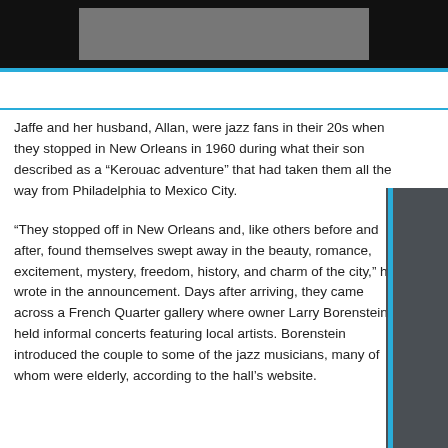[Figure (photo): Dark header bar with a light-colored image placeholder in the center]
Jaffe and her husband, Allan, were jazz fans in their 20s when they stopped in New Orleans in 1960 during what their son described as a “Kerouac adventure” that had taken them all the way from Philadelphia to Mexico City.
“They stopped off in New Orleans and, like others before and after, found themselves swept away in the beauty, romance, excitement, mystery, freedom, history, and charm of the city,” he wrote in the announcement. Days after arriving, they came across a French Quarter gallery where owner Larry Borenstein held informal concerts featuring local artists. Borenstein introduced the couple to some of the jazz musicians, many of whom were elderly, according to the hall’s website.